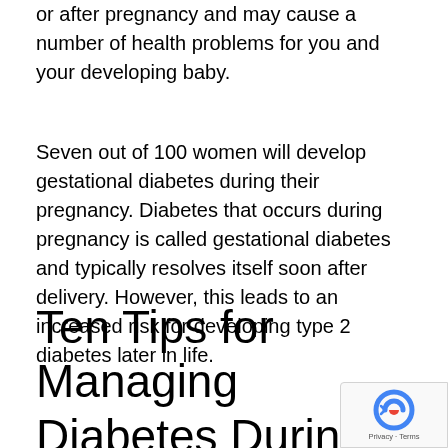or after pregnancy and may cause a number of health problems for you and your developing baby.
Seven out of 100 women will develop gestational diabetes during their pregnancy. Diabetes that occurs during pregnancy is called gestational diabetes and typically resolves itself soon after delivery. However, this leads to an increased risk for developing type 2 diabetes later in life.
Ten Tips for Managing Diabetes During Pregnancy
To help keep you and your baby healthy, it's important to keep your blood sugar as close to normal as possible—before, during and after pregnancy. Here are useful tips for managing